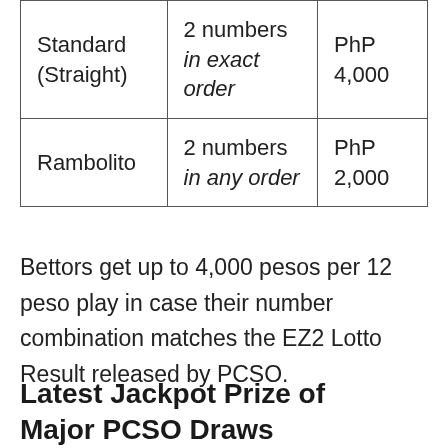|  |  |  |
| --- | --- | --- |
| Standard (Straight) | 2 numbers in exact order | PhP 4,000 |
| Rambolito | 2 numbers in any order | PhP 2,000 |
Bettors get up to 4,000 pesos per 12 peso play in case their number combination matches the EZ2 Lotto Result released by PCSO.
Latest Jackpot Prize of Major PCSO Draws